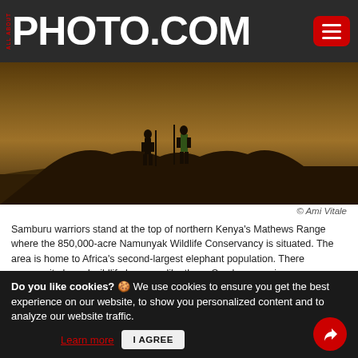ALL ABOUT PHOTO.COM
[Figure (photo): Silhouette of Samburu warriors standing at the top of a rocky ridge in northern Kenya's Mathews Range, against a warm amber/golden sky at dusk or dawn.]
© Ami Vitale
Samburu warriors stand at the top of northern Kenya's Mathews Range where the 850,000-acre Namunyak Wildlife Conservancy is situated. The area is home to Africa's second-largest elephant population. There community-based wildlife keepers, like these Samburu warriors, are working to rehabilitate abandoned and orphaned elephants in order to eventually return them to the nearby wild herds. In many ways, community-based conservation is likely to be the only viable alternative for vast tracts of Africa, in the parts beyond agriculture and where big animals and nomadic pastoralists still make their home. This elephant sanctuary is the culmination of a two-decades-long process of tipping conservation upon its head, protecting wildlife for, and not just from people. In that sense, the sanctuary is as much about people as it's about elephants.
Do you like cookies? 🍪 We use cookies to ensure you get the best experience on our website, to show you personalized content and to analyze our website traffic. Learn more  I AGREE